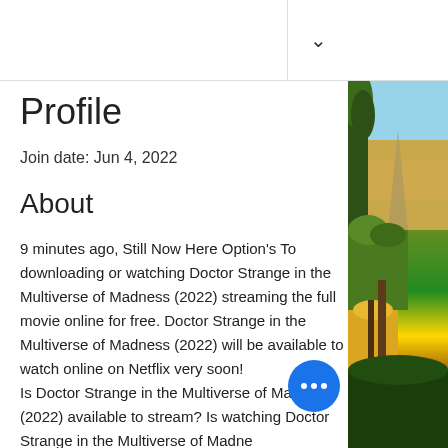Profile
Join date: Jun 4, 2022
About
9 minutes ago, Still Now Here Option's To downloading or watching Doctor Strange in the Multiverse of Madness (2022) streaming the full movie online for free. Doctor Strange in the Multiverse of Madness (2022) will be available to watch online on Netflix very soon!
Is Doctor Strange in the Multiverse of Madness (2022) available to stream? Is watching Doctor Strange in the Multiverse of Madness (2022) on Disney Plus, HBO Max, Netflix or Amazon Prime? Yes we have found
[Figure (photo): Landscape photo showing blue sky, farmland with golden fields, and vegetation including trees and flowering plants along a rural path.]